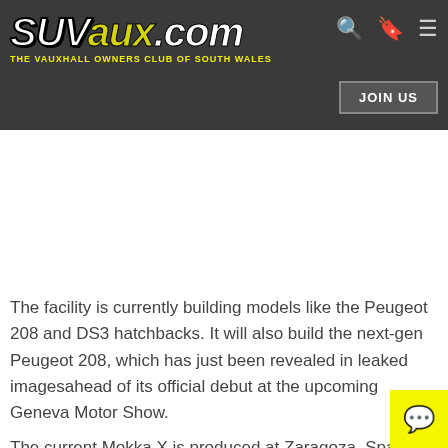SWVaux.com — THE VAUXHALL OWNERS CLUB OF SOUTH WALES | JOIN US
The facility is currently building models like the Peugeot 208 and DS3 hatchbacks. It will also build the next-gen Peugeot 208, which has just been revealed in leaked imagesahead of its official debut at the upcoming Geneva Motor Show.
The current Mokka X is produced at Zaragoza, Spain